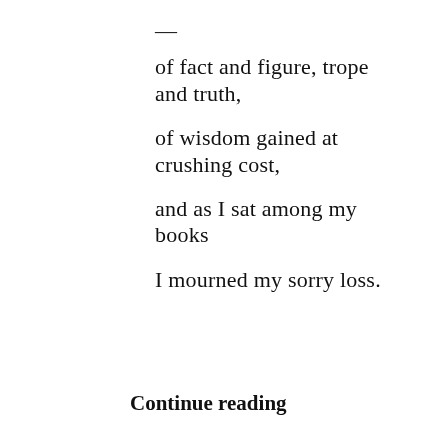—
of fact and figure, trope
and truth,
of wisdom gained at
crushing cost,
and as I sat among my
books
I mourned my sorry loss.
Continue reading